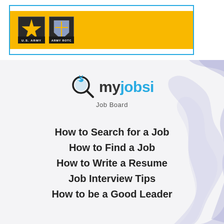[Figure (logo): U.S. Army and Army ROTC logos on a yellow/gold banner inside a blue-bordered box]
[Figure (logo): myjobsi Job Board logo with magnifying glass icon]
How to Search for a Job
How to Find a Job
How to Write a Resume
Job Interview Tips
How to be a Good Leader